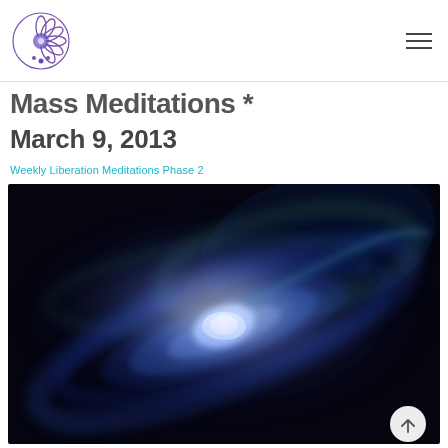Mass Meditations logo and navigation
Mass Meditations *
March 9, 2013
Weekly Liberation Meditations Phase 2
[Figure (illustration): A glowing blue-white spiral galaxy or vortex of light against a dark space background, with bright white light at the center and swirling blue and teal cosmic energy around it.]